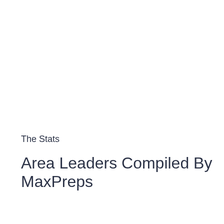The Stats
Area Leaders Compiled By MaxPreps